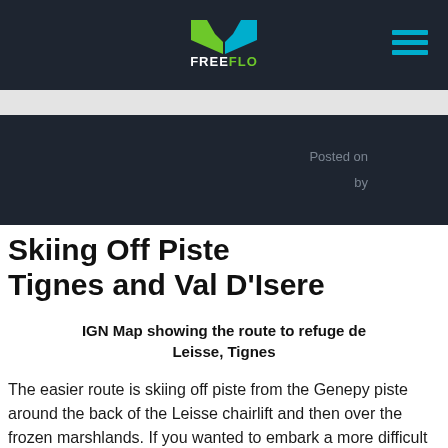FREEFLO
Posted on
by
Skiing Off Piste Tignes and Val D'Isere
IGN Map showing the route to refuge de Leisse, Tignes
The easier route is skiing off piste from the Genepy piste around the back of the Leisse chairlift and then over the frozen marshlands. If you wanted to embark a more difficult route you